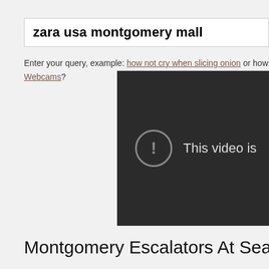zara usa montgomery mall
Enter your query, example: how not cry when slicing onion or how to ente... Webcams?
[Figure (screenshot): Dark video player showing error icon (circle with exclamation mark) and text 'This video is' (truncated)]
Montgomery Escalators At Sears In Nort